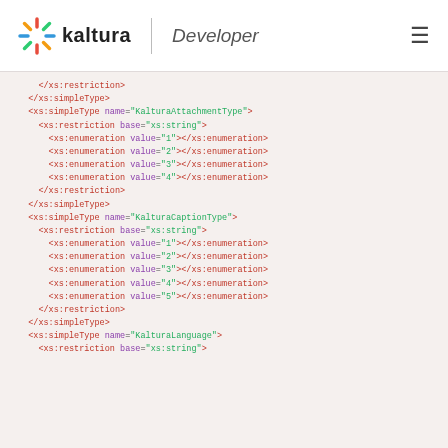kaltura Developer
</xs:restriction>
</xs:simpleType>
<xs:simpleType name="KalturaAttachmentType">
  <xs:restriction base="xs:string">
    <xs:enumeration value="1"></xs:enumeration>
    <xs:enumeration value="2"></xs:enumeration>
    <xs:enumeration value="3"></xs:enumeration>
    <xs:enumeration value="4"></xs:enumeration>
  </xs:restriction>
</xs:simpleType>
<xs:simpleType name="KalturaCaptionType">
  <xs:restriction base="xs:string">
    <xs:enumeration value="1"></xs:enumeration>
    <xs:enumeration value="2"></xs:enumeration>
    <xs:enumeration value="3"></xs:enumeration>
    <xs:enumeration value="4"></xs:enumeration>
    <xs:enumeration value="5"></xs:enumeration>
  </xs:restriction>
</xs:simpleType>
<xs:simpleType name="KalturaLanguage">
  <xs:restriction base="xs:string">